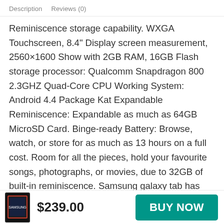Description   Reviews (0)
Reminiscence storage capability. WXGA Touchscreen, 8.4" Display screen measurement, 2560×1600 Show with 2GB RAM, 16GB Flash storage processor: Qualcomm Snapdragon 800 2.3GHZ Quad-Core CPU Working System: Android 4.4 Package Kat Expandable Reminiscence: Expandable as much as 64GB MicroSD Card. Binge-ready Battery: Browse, watch, or store for as much as 13 hours on a full cost. Room for all the pieces, hold your favourite songs, photographs, or movies, due to 32GB of built-in reminiscence. Samsung galaxy tab has Extremely power-saving mode. The premium metallic end and light-weight design make it simple
$239.00
BUY NOW